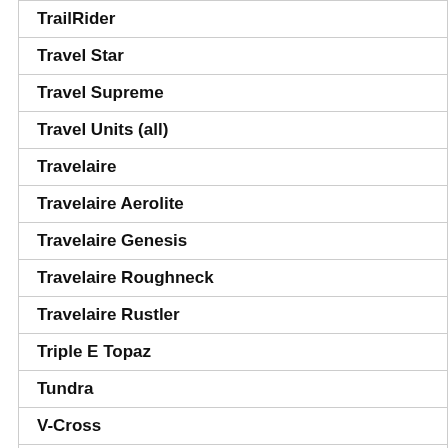| TrailRider |
| Travel Star |
| Travel Supreme |
| Travel Units (all) |
| Travelaire |
| Travelaire Aerolite |
| Travelaire Genesis |
| Travelaire Roughneck |
| Travelaire Rustler |
| Triple E Topaz |
| Tundra |
| V-Cross |
| Victory Lane |